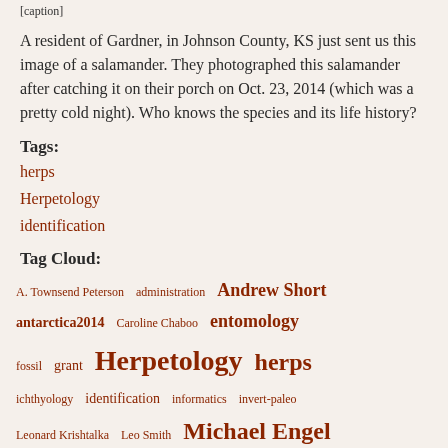[caption]
A resident of Gardner, in Johnson County, KS just sent us this image of a salamander. They photographed this salamander after catching it on their porch on Oct. 23, 2014 (which was a pretty cold night). Who knows the species and its life history?
Tags:
herps
Herpetology
identification
Tag Cloud:
A. Townsend Peterson  administration  Andrew Short  antarctica2014  Caroline Chaboo  entomology  fossil  grant  Herpetology  herps  ichthyology  identification  informatics  invert-paleo  Leonard Krishtalka  Leo Smith  Michael Engel